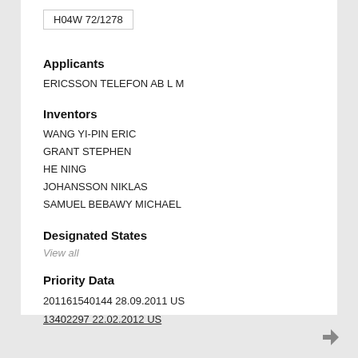H04W 72/1278
Applicants
ERICSSON TELEFON AB L M
Inventors
WANG YI-PIN ERIC
GRANT STEPHEN
HE NING
JOHANSSON NIKLAS
SAMUEL BEBAWY MICHAEL
Designated States
View all
Priority Data
201161540144 28.09.2011 US
13402297 22.02.2012 US